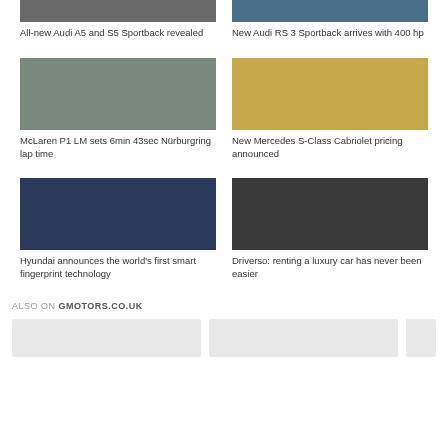[Figure (photo): Audi A5 and S5 Sportback car photo (partial, top of image)]
[Figure (photo): Audi RS 3 Sportback blue car photo (partial, top of image)]
All-new Audi A5 and S5 Sportback revealed
New Audi RS 3 Sportback arrives with 400 hp
[Figure (photo): McLaren P1 LM on highway with traffic]
[Figure (photo): New Mercedes S-Class Cabriolet driving with palm trees]
McLaren P1 LM sets 6min 43sec Nürburgring lap time
New Mercedes S-Class Cabriolet pricing announced
[Figure (photo): Hyundai interior with smart fingerprint technology on steering wheel]
[Figure (photo): Dark Mercedes E-Class sedan parked near rocks]
Hyundai announces the world's first smart fingerprint technology
Driverso: renting a luxury car has never been easier
ALSO ON GMOTORS.CO.UK
[Figure (photo): Also on GMOtors card placeholder 1]
[Figure (photo): Also on GMOtors card placeholder 2]
[Figure (photo): Also on GMOtors card placeholder 3 (partial)]